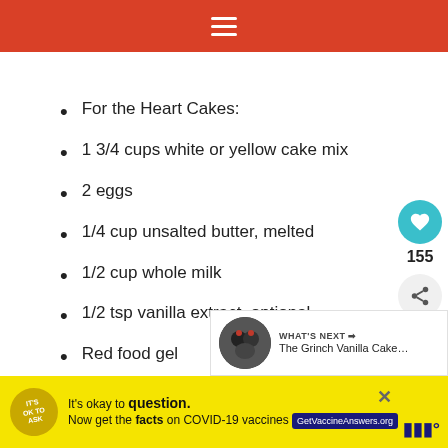Ingredients
For the Heart Cakes:
1 3/4 cups white or yellow cake mix
2 eggs
1/4 cup unsalted butter, melted
1/2 cup whole milk
1/2 tsp vanilla extract, optional
Red food gel
For the Sponge Cake:
4 TBSP powdered sugar (for dusting the towel)
1 cup all-purpose flour
1 tsp baking powder
It's okay to question. Now get the facts on COVID-19 vaccines GetVaccineAnswers.org